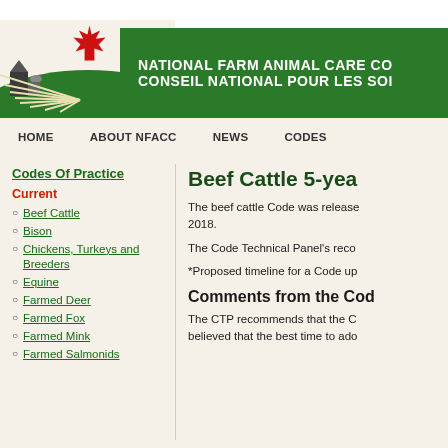[Figure (logo): NFACC logo with Canadian maple leaf, farm scene, and green banner reading NATIONAL FARM ANIMAL CARE COUNCIL / CONSEIL NATIONAL POUR LES SOINS]
HOME   ABOUT NFACC   NEWS   CODES
Codes Of Practice
Current
Beef Cattle
Bison
Chickens, Turkeys and Breeders
Equine
Farmed Deer
Farmed Fox
Farmed Mink
Farmed Salmonids
Beef Cattle 5-yea
The beef cattle Code was released 2018.
The Code Technical Panel's reco
*Proposed timeline for a Code up
Comments from the Cod
The CTP recommends that the C believed that the best time to ado